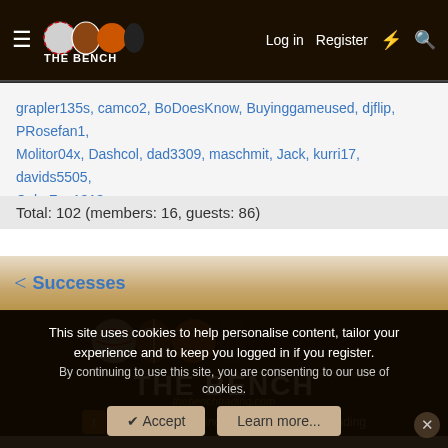The Bench - thebenchtrading.com | Log in | Register
grapler135s, camco2, BoDoesKnow, Buyinggameused, djflip, PRosefan1, Molitor04x, Dashcol, dad3309, maschmit, Jack, kurri17, davids5505, CubsFan1313
Total: 102 (members: 16, guests: 86)
< Successes
[Figure (logo): The Bench trading website logo with sports balls and text THE BENCH thebenchtrading.com on dark wood background]
@TheBenchTrading   TheBenchTrading
This site uses cookies to help personalise content, tailor your experience and to keep you logged in if you register.
By continuing to use this site, you are consenting to our use of cookies.